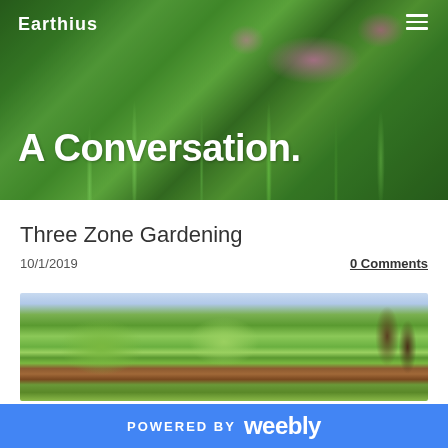[Figure (photo): Hero background image of green garden plants with pink flowers, close-up view]
Earthius
A Conversation.
Three Zone Gardening
10/1/2019
0 Comments
[Figure (photo): Garden photo showing trees, shrubs and tall plants with a building in the background and cattails on the right]
POWERED BY weebly